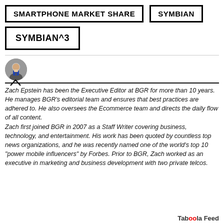SMARTPHONE MARKET SHARE
SYMBIAN
SYMBIAN^3
[Figure (illustration): Circular avatar photo of Zach Epstein, a man in a suit and tie]
Zach Epstein has been the Executive Editor at BGR for more than 10 years. He manages BGR's editorial team and ensures that best practices are adhered to. He also oversees the Ecommerce team and directs the daily flow of all content. Zach first joined BGR in 2007 as a Staff Writer covering business, technology, and entertainment. His work has been quoted by countless top news organizations, and he was recently named one of the world's top 10 “power mobile influencers” by Forbes. Prior to BGR, Zach worked as an executive in marketing and business development with two private telcos.
Taboola Feed